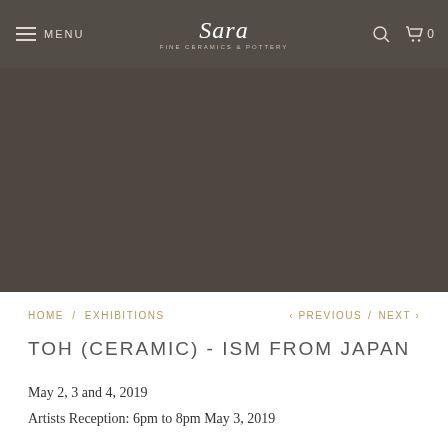MENU | Sara [logo] | search icon | cart 0
[Figure (photo): Dark brownish-grey hero image area, appears to be a large banner image with dark warm brown/grey background, possibly showing ceramics in very dark lighting]
HOME / EXHIBITIONS   < PREVIOUS / NEXT >
TOH (CERAMIC) - ISM FROM JAPAN
May 2, 3 and 4, 2019
Artists Reception: 6pm to 8pm May 3, 2019